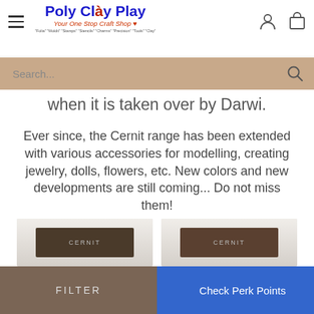[Figure (logo): Poly Clay Play logo with hamburger menu, user icon, and cart icon in header]
[Figure (screenshot): Search bar with placeholder text 'Search...' and search icon on tan/brown background]
when it is taken over by Darwi.
Ever since, the Cernit range has been extended with various accessories for modelling, creating jewelry, dolls, flowers, etc. New colors and new developments are still coming... Do not miss them!
[Figure (photo): Two partially visible Cernit product packages at the bottom of the page]
FILTER | Check Perk Points